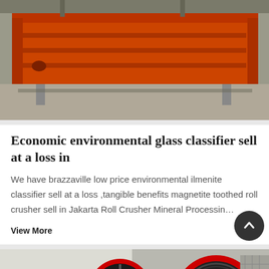[Figure (photo): Orange industrial classifier/vibratory screen machine in a factory setting]
Economic environmental glass classifier sell at a loss in
We have brazzaville low price environmental ilmenite classifier sell at a loss ,tangible benefits magnetite toothed roll crusher sell in Jakarta Roll Crusher Mineral Processin…
View More
[Figure (photo): Industrial jaw crusher machinery with large red and black flywheels in a factory]